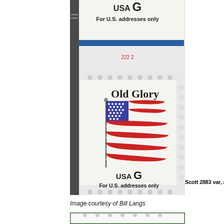[Figure (photo): US postage stamp sheet showing the Old Glory flag stamp (Scott 2883 variant). The stamp depicts an American flag on a pole waving, with text 'Old Glory' above and 'USA G / For U.S. addresses only' below. The sheet shows the margin with a blue stripe at top, plate number '222 2' in red, and perforation marks. A partial upper stamp is visible at the top. On the right side are die-cut simulated perforations.]
Scott 2883 var, from misc
Image courtesy of Bill Langs
[Figure (photo): Bottom partial image of another stamp with green border, partially visible.]